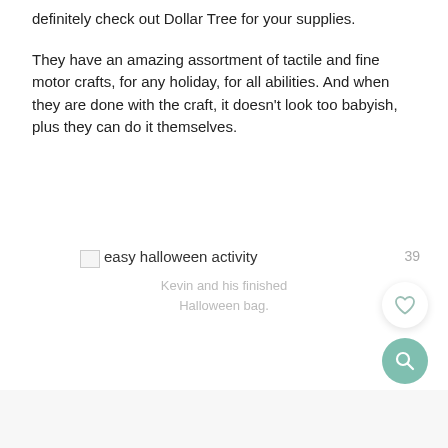definitely check out Dollar Tree for your supplies.
They have an amazing assortment of tactile and fine motor crafts, for any holiday, for all abilities. And when they are done with the craft, it doesn't look too babyish, plus they can do it themselves.
[Figure (photo): Broken image placeholder labeled 'easy halloween activity' with number badge 39]
Kevin and his finished Halloween bag.